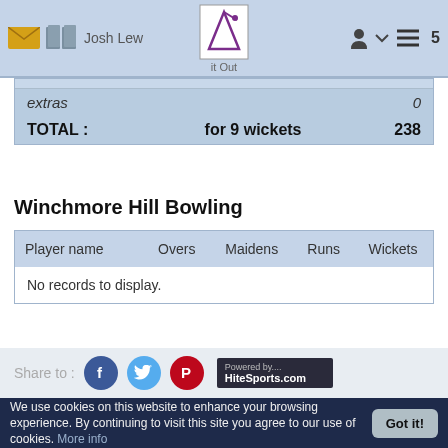Josh Lew | Hit Out | 5
| extras |  | 0 |
| TOTAL : | for 9 wickets | 238 |
Winchmore Hill Bowling
| Player name | Overs | Maidens | Runs | Wickets |
| --- | --- | --- | --- | --- |
| No records to display. |  |  |  |  |
Share to : [Facebook] [Twitter] [Pinterest] [Powered by HiteSports.com]
We use cookies on this website to enhance your browsing experience. By continuing to visit this site you agree to our use of cookies. More info   Got it!